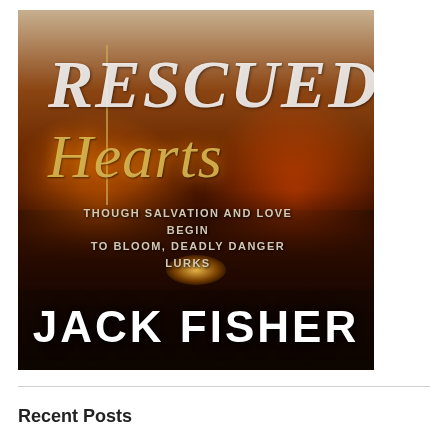[Figure (illustration): Book cover for 'Rescued Hearts' by Jack Fisher. Cover shows a woman's torso in white clothing at the top, with large stylized title text 'RESCUED Hearts' overlaid. Background features dramatic fire and forest imagery with orange/red tones. A truck with headlights visible in the lower middle distance. Subtitle reads 'THOUGH SALVATION AND LOVE BEGIN TO BLOOM, DEADLY DANGER LURKS'. Author name 'JACK FISHER' appears in large white bold letters at the bottom.]
Recent Posts